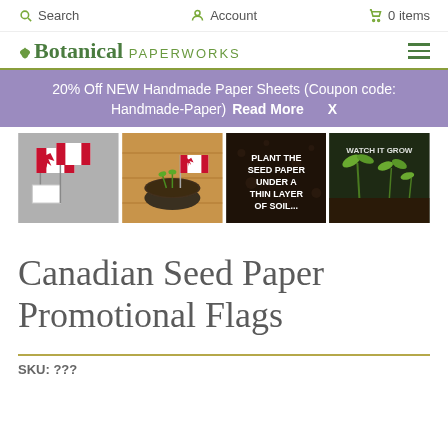Search   Account   0 items
[Figure (logo): Botanical Paperworks logo with leaf icon and hamburger menu]
20% Off NEW Handmade Paper Sheets (Coupon code: Handmade-Paper)   Read More   X
[Figure (photo): Four thumbnail images showing Canadian seed paper promotional flags, a flag in a pot, soil with text 'plant the seed paper under a thin layer of soil...', and seedlings growing with text 'watch it grow']
Canadian Seed Paper Promotional Flags
SKU: ???